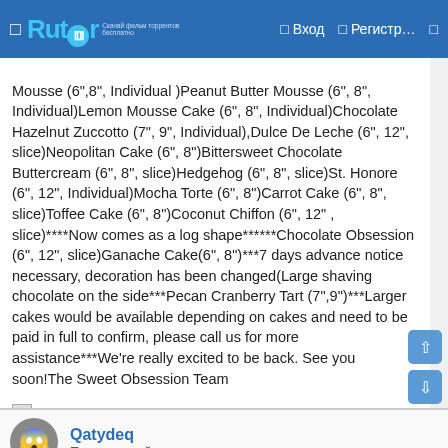☐ Rutor   ☐ Вход   ☐ Регистр…   ☐
Mousse (6",8", Individual )Peanut Butter Mousse (6", 8", Individual)Lemon Mousse Cake (6", 8", Individual)Chocolate Hazelnut Zuccotto (7", 9", Individual),Dulce De Leche (6", 12", slice)Neopolitan Cake (6", 8")Bittersweet Chocolate Buttercream (6", 8", slice)Hedgehog (6", 8", slice)St. Honore (6", 12", Individual)Mocha Torte (6", 8")Carrot Cake (6", 8", slice)Toffee Cake (6", 8")Coconut Chiffon (6", 12" , slice)****Now comes as a log shape******Chocolate Obsession (6", 12", slice)Ganache Cake(6", 8")***7 days advance notice necessary, decoration has been changed(Large shaving chocolate on the side***Pecan Cranberry Tart (7",9")***Larger cakes would be available depending on cakes and need to be paid in full to confirm, please call us for more assistance***We're really excited to be back. See you soon!The Sweet Obsession Team
[Figure (other): Broken image placeholder with text: Запрещенные сайты онион 2021]
Qatydeq
Продвинутый юзер